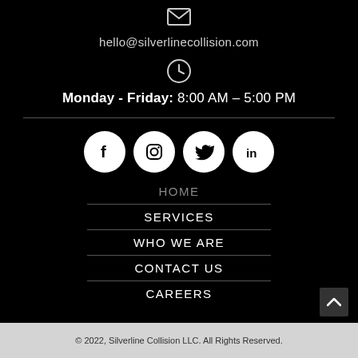[Figure (illustration): Email envelope icon (white outline on black background)]
hello@silverlinecollision.com
[Figure (illustration): Clock icon in a circle (white outline on black background)]
Monday - Friday: 8:00 AM – 5:00 PM
[Figure (illustration): Social media icons: Facebook, Instagram, Twitter, LinkedIn — white circles with black logos]
HOME
SERVICES
WHO WE ARE
CONTACT US
CAREERS
© 2022, Silverline Collision LLC. All Rights Reserved.